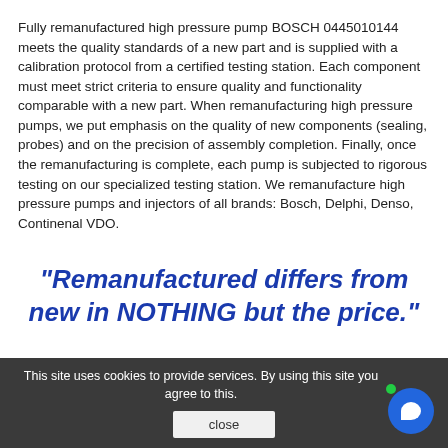Fully remanufactured high pressure pump BOSCH 0445010144 meets the quality standards of a new part and is supplied with a calibration protocol from a certified testing station. Each component must meet strict criteria to ensure quality and functionality comparable with a new part. When remanufacturing high pressure pumps, we put emphasis on the quality of new components (sealing, probes) and on the precision of assembly completion. Finally, once the remanufacturing is complete, each pump is subjected to rigorous testing on our specialized testing station. We remanufacture high pressure pumps and injectors of all brands: Bosch, Delphi, Denso, Continenal VDO.
"Remanufactured differs from new in NOTHING but the price."
This site uses cookies to provide services. By using this site you agree to this. close